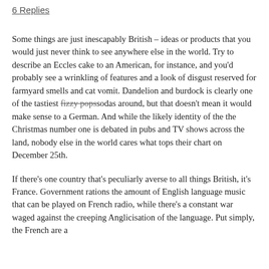6 Replies
Some things are just inescapably British – ideas or products that you would just never think to see anywhere else in the world. Try to describe an Eccles cake to an American, for instance, and you'd probably see a wrinkling of features and a look of disgust reserved for farmyard smells and cat vomit. Dandelion and burdock is clearly one of the tastiest fizzy pops sodas around, but that doesn't mean it would make sense to a German. And while the likely identity of the the Christmas number one is debated in pubs and TV shows across the land, nobody else in the world cares what tops their chart on December 25th.
If there's one country that's peculiarly averse to all things British, it's France. Government rations the amount of English language music that can be played on French radio, while there's a constant war waged against the creeping Anglicisation of the language. Put simply, the French are a